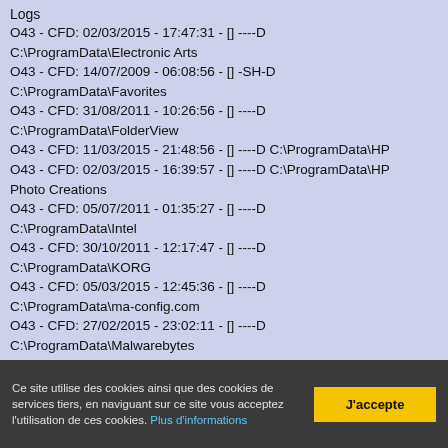Logs
O43 - CFD: 02/03/2015 - 17:47:31 - [] ----D C:\ProgramData\Electronic Arts
O43 - CFD: 14/07/2009 - 06:08:56 - [] -SH-D C:\ProgramData\Favorites
O43 - CFD: 31/08/2011 - 10:26:56 - [] ----D C:\ProgramData\FolderView
O43 - CFD: 11/03/2015 - 21:48:56 - [] ----D C:\ProgramData\HP
O43 - CFD: 02/03/2015 - 16:39:57 - [] ----D C:\ProgramData\HP Photo Creations
O43 - CFD: 05/07/2011 - 01:35:27 - [] ----D C:\ProgramData\Intel
O43 - CFD: 30/10/2011 - 12:17:47 - [] ----D C:\ProgramData\KORG
O43 - CFD: 05/03/2015 - 12:45:36 - [] ----D C:\ProgramData\ma-config.com
O43 - CFD: 27/02/2015 - 23:02:11 - [] ----D C:\ProgramData\Malwarebytes
O43 - CFD: 05/03/2012 - 17:38:59 - [] ----D
Ce site utilise des cookies ainsi que des cookies de services tiers, en naviguant sur ce site vous acceptez l'utilisation de ces cookies. Plus d'informations
J'accepte